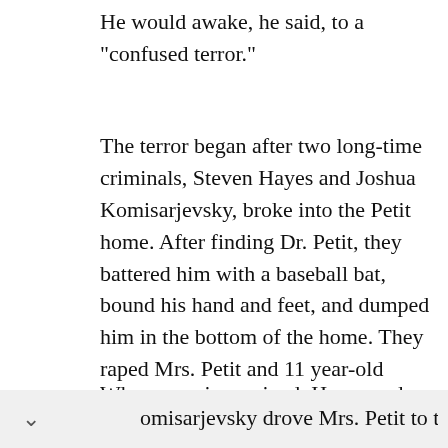He would awake, he said, to a "confused terror."
The terror began after two long-time criminals, Steven Hayes and Joshua Komisarjevsky, broke into the Petit home. After finding Dr. Petit, they battered him with a baseball bat, bound his hand and feet, and dumped him in the bottom of the home. They raped Mrs. Petit and 11 year-old Michaela.
When morning arrived, Hayes and Komisarjevsky drove Mrs. Petit to the bank